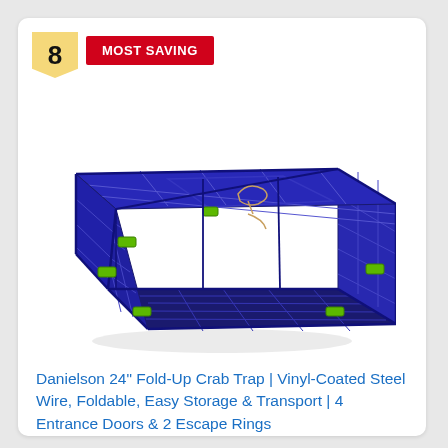8
MOST SAVING
[Figure (photo): Blue vinyl-coated steel wire fold-up crab trap with green clips/latches and rope handle, shown in 3D perspective view in assembled/open state.]
Danielson 24" Fold-Up Crab Trap | Vinyl-Coated Steel Wire, Foldable, Easy Storage & Transport | 4 Entrance Doors & 2 Escape Rings